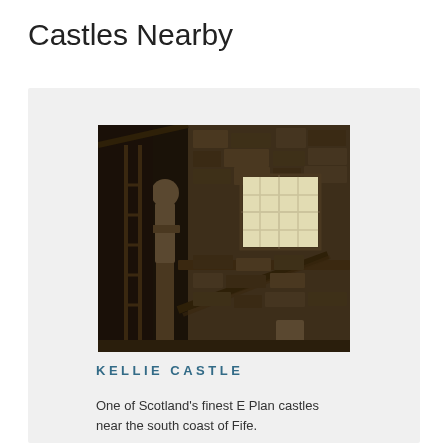Castles Nearby
[Figure (photo): Interior of a stone castle building with wooden beams, a multi-pane window letting in light, wooden scaffolding/ladders, and what appears to be a sculpture or figure in the foreground.]
KELLIE CASTLE
One of Scotland's finest E Plan castles near the south coast of Fife.